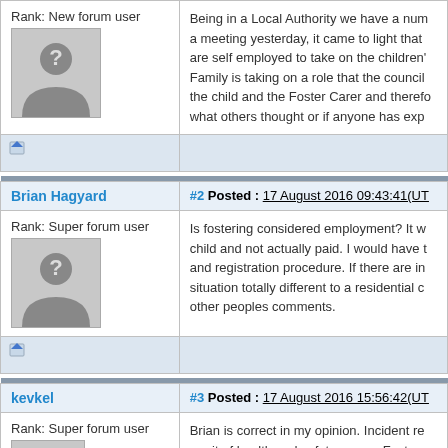Rank: New forum user
[Figure (illustration): Default avatar silhouette with question mark]
Being in a Local Authority we have a number of... a meeting yesterday, it came to light that... are self employed to take on the children's... Family is taking on a role that the council... the child and the Foster Carer and therefore... what others thought or if anyone has exp...
Brian Hagyard
#2 Posted : 17 August 2016 09:43:41(UT...
Rank: Super forum user
[Figure (illustration): Default avatar silhouette with question mark]
Is fostering considered employment? It w... child and not actually paid. I would have t... and registration procedure. If there are in... situation totally different to a residential c... other peoples comments.
kevkel
#3 Posted : 17 August 2016 15:56:42(UT...
Rank: Super forum user
Brian is correct in my opinion. Incident re... remit of health and safety per se. Foster c...